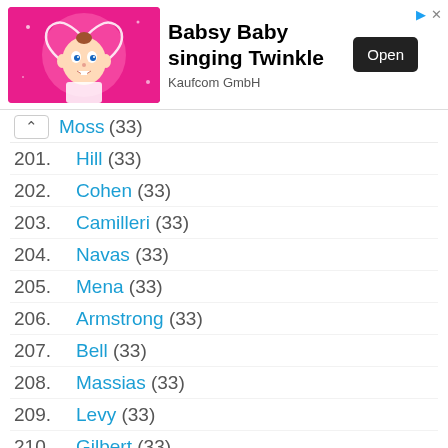[Figure (infographic): Advertisement banner for Babsy Baby singing Twinkle app by Kaufcom GmbH, showing animated baby character on pink background with Open button]
Moss (33)
201. Hill (33)
202. Cohen (33)
203. Camilleri (33)
204. Navas (33)
205. Mena (33)
206. Armstrong (33)
207. Bell (33)
208. Massias (33)
209. Levy (33)
210. Gilbert (33)
211. Cooper (30)
212. Menez (30)